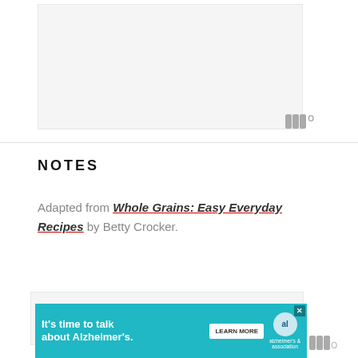[Figure (other): Top image placeholder area, light gray background]
NOTES
Adapted from Whole Grains: Easy Everyday Recipes by Betty Crocker.
[Figure (other): Bottom image placeholder area, light gray background]
[Figure (infographic): Alzheimer's Association advertisement banner: It's time to talk about Alzheimer's. LEARN MORE]